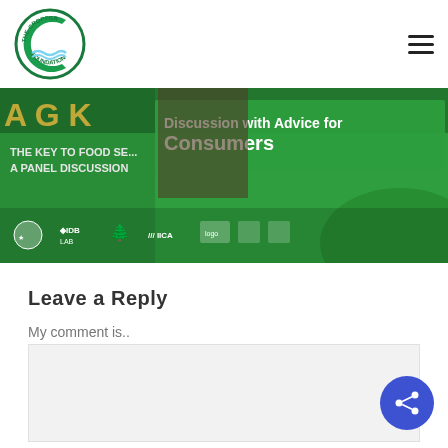[Figure (logo): The Cropper Foundation circular logo with blue/green colors showing people and water imagery]
[Figure (infographic): Green banner for 'The Key to Food Security: A Panel Discussion' event featuring 'Discussion with Advice for Consumers' text overlay, speaker photos, and sponsor logos including IDB LAB, IICA, and others]
Leave a Reply
My comment is..